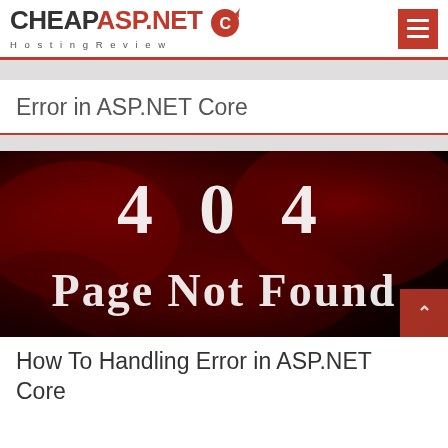CHEAPASP.NET Hosting Review
Error in ASP.NET Core
[Figure (illustration): 404 Page Not Found image with white chalk-style text on a dark red smoky background]
How To Handling Error in ASP.NET Core